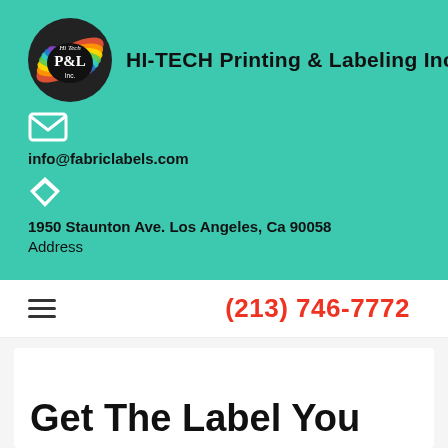[Figure (logo): Hi-Tech P&L Inc. circular colorful logo with rainbow colored stacked discs]
HI-TECH Printing & Labeling Inc.
info@fabriclabels.com
1950 Staunton Ave. Los Angeles, Ca 90058
Address
(213) 746-7772
Get The Label You